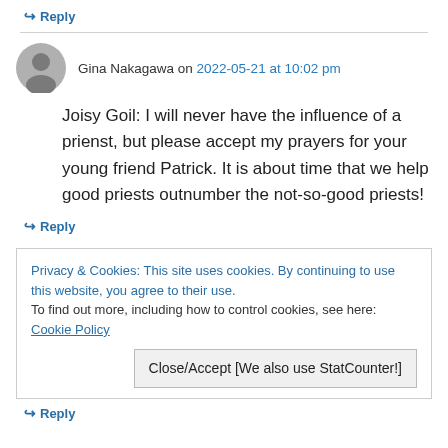↪ Reply
Gina Nakagawa on 2022-05-21 at 10:02 pm
Joisy Goil: I will never have the influence of a prienst, but please accept my prayers for your young friend Patrick. It is about time that we help good priests outnumber the not-so-good priests!
↪ Reply
Privacy & Cookies: This site uses cookies. By continuing to use this website, you agree to their use. To find out more, including how to control cookies, see here: Cookie Policy
Close/Accept [We also use StatCounter!]
↪ Reply